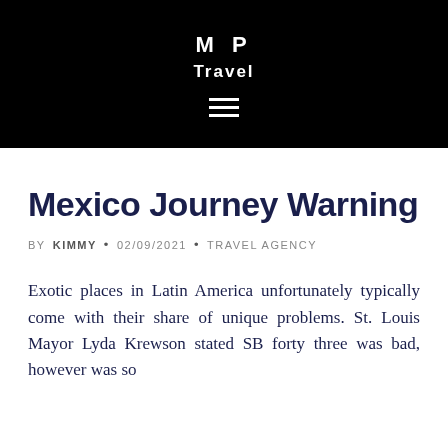M P
Travel
Mexico Journey Warning
BY KIMMY • 02/09/2021 • TRAVEL AGENCY
Exotic places in Latin America unfortunately typically come with their share of unique problems. St. Louis Mayor Lyda Krewson stated SB forty three was bad, however was so